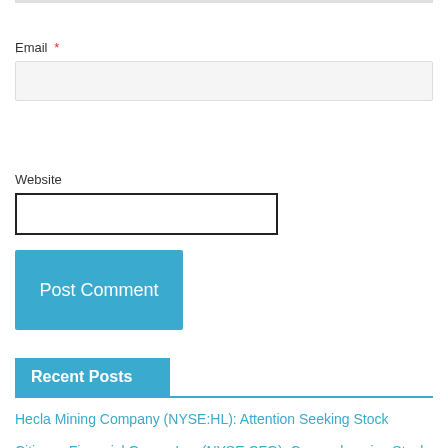Email *
Website
Post Comment
Recent Posts
Hecla Mining Company (NYSE:HL): Attention Seeking Stock
Citizens Financial Group, Inc. (NYSE:CFG): Comprehensive Stock Analysis